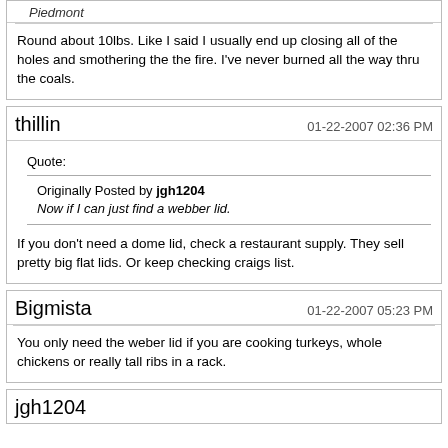Piedmont
Round about 10lbs. Like I said I usually end up closing all of the holes and smothering the the fire. I've never burned all the way thru the coals.
thillin
01-22-2007 02:36 PM
Quote: Originally Posted by jgh1204 Now if I can just find a webber lid.
If you don't need a dome lid, check a restaurant supply. They sell pretty big flat lids. Or keep checking craigs list.
Bigmista
01-22-2007 05:23 PM
You only need the weber lid if you are cooking turkeys, whole chickens or really tall ribs in a rack.
jgh1204